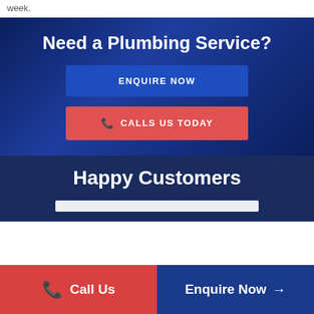week.
Need a Plumbing Service?
[Figure (other): Blue 'ENQUIRE NOW' button on dark blue background]
[Figure (other): Red 'CALLS US TODAY' button with phone icon on dark blue background]
Happy Customers
[Figure (other): White review bar strip]
[Figure (other): Bottom bar with red 'Call Us' button and dark blue 'Enquire Now' button]